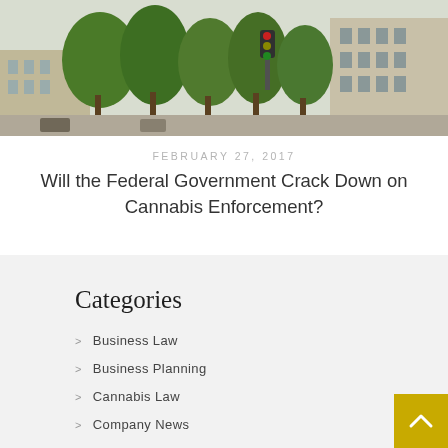[Figure (photo): Aerial/street-level photo of an urban area with trees and buildings, possibly a courthouse or government building area]
FEBRUARY 27, 2017
Will the Federal Government Crack Down on Cannabis Enforcement?
Categories
Business Law
Business Planning
Cannabis Law
Company News